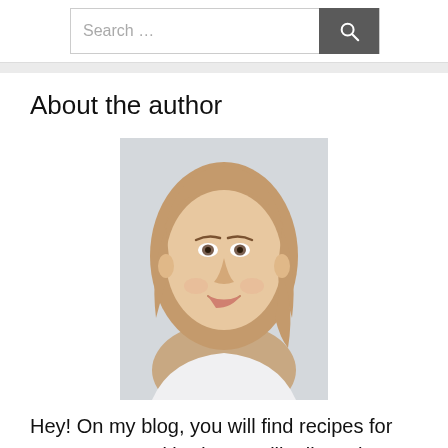Search …
About the author
[Figure (photo): Portrait photo of a young woman with light brown hair, smiling, against a light gray background.]
Hey! On my blog, you will find recipes for every taste and budget. I will tell you how to cook simple and delicious dishes deliciously and quickly, and I will also share the secrets and tips for preparing them. If you want to learn how to cook a delicious lunch, just take a look at my blog and you will learn a lot of